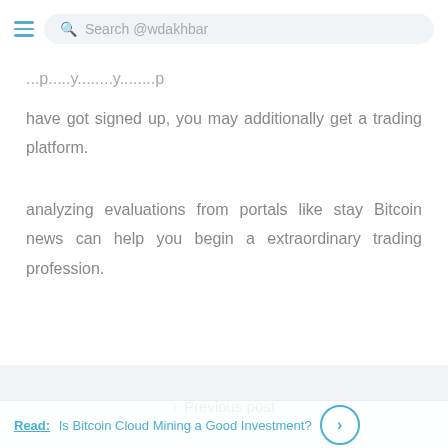Search @wdakhbar
have got signed up, you may additionally get a trading platform.
analyzing evaluations from portals like stay Bitcoin news can help you begin a extraordinary trading profession.
Previous post
Read: Is Bitcoin Cloud Mining a Good Investment?